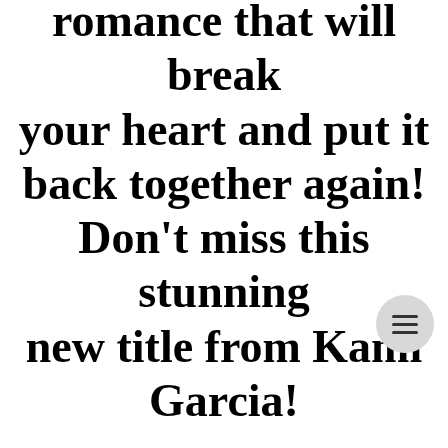romance that will break your heart and put it back together again! Don't miss this stunning new title from Kami Garcia! BROKEN BEAUTIFUL HEARTS releases on February 2, 2018. B...